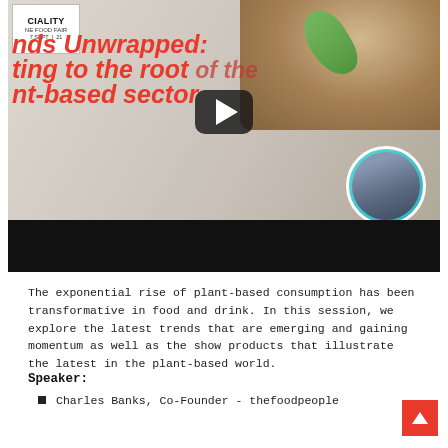[Figure (screenshot): Video thumbnail for a food fair session titled 'Trends Unwrapped: Getting to the root of the plant-based sector' featuring Charles Banks of thefoodpeople. Shows red bold italic text, a tea cup image, a YouTube-style play button, and a circular headshot of Charles Banks.]
The exponential rise of plant-based consumption has been transformative in food and drink. In this session, we explore the latest trends that are emerging and gaining momentum as well as the show products that illustrate the latest in the plant-based world.
Speaker:
Charles Banks, Co-Founder - thefoodpeople